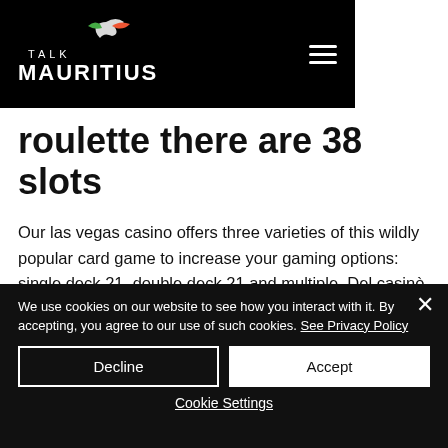TALK MAURITIUS
roulette there are 38 slots
Our las vegas casino offers three varieties of this wildly popular card game to increase your gaming options: single deck 21, double deck 21 and multiple. Del casinò puoi giocare 24 ore su 24 e tutti i giorni dell'anno a slot. If you're looking to sit down at a las vegas casino table game with few complexities and a lot of james bond-style gambling for three option counts
We use cookies on our website to see how you interact with it. By accepting, you agree to our use of such cookies. See Privacy Policy
Decline
Accept
Cookie Settings